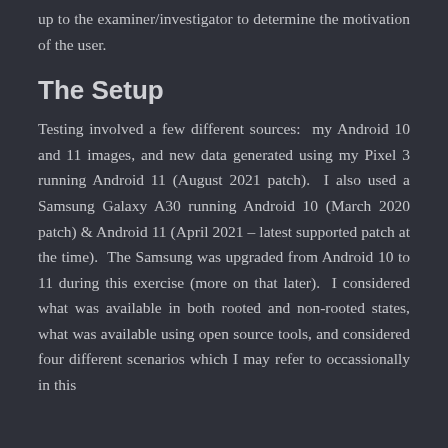up to the examiner/investigator to determine the motivation of the user.
The Setup
Testing involved a few different sources:  my Android 10 and 11 images, and new data generated using my Pixel 3 running Android 11 (August 2021 patch).  I also used a Samsung Galaxy A30 running Android 10 (March 2020 patch) & Android 11 (April 2021 – latest supported patch at the time).  The Samsung was upgraded from Android 10 to 11 during this exercise (more on that later).  I considered what was available in both rooted and non-rooted states, what was available using open source tools, and considered four different scenarios which I may refer to occassionally in this